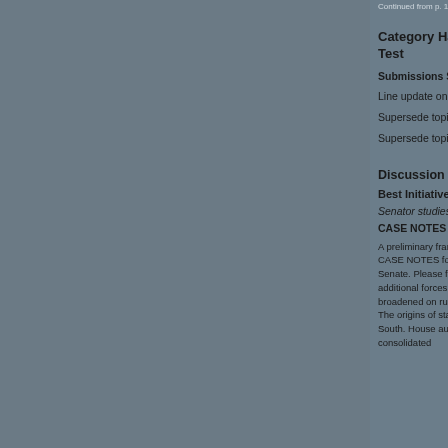Continued from p. 12
Category Handbook Test
Submissions Start. Deadline of 31 May
Line update on 11
Supersede topics of
Supersede topics of
Discussion
Best Initiatives
Senator studies of
CASE NOTES 1913
A preliminary framework CASE NOTES for the Senate. Please further additional forces broadened on rules. The origins of state South. House audits consolidated